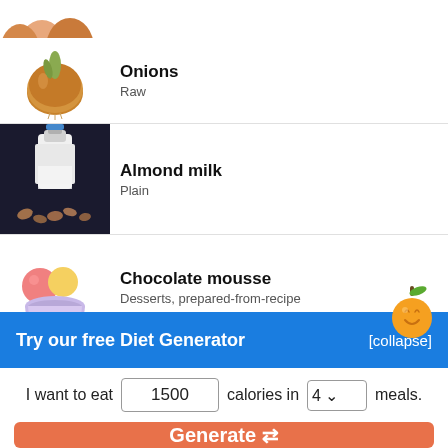[Figure (photo): Partial cropped eggs photo at top of list]
Onions
Raw
Almond milk
Plain
Chocolate mousse
Desserts, prepared-from-recipe
Reduced fat milk
Fluid, 2% milkfat, with added vitamin...
Try our free Diet Generator
[collapse]
I want to eat 1500 calories in 4 meals.
Generate